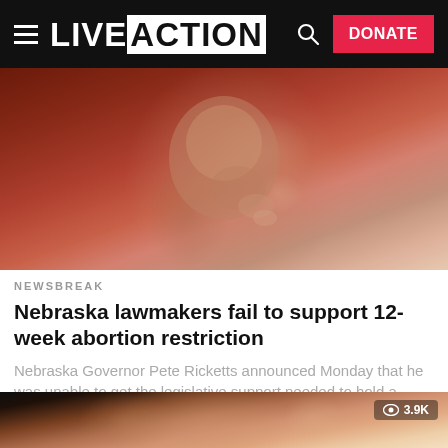LIVE ACTION — DONATE
[Figure (photo): Close-up image of a fetus with reddish-brown tones background]
NEWSBREAK
Nebraska lawmakers fail to support 12-week abortion restriction
Nebraska Governor Pete Ricketts announced Monday that he was unable to get the legislative support needed to hold a special session to...
[Figure (photo): Close-up macro image of a baby hand/fetus hand with a view count badge showing 3.9K]